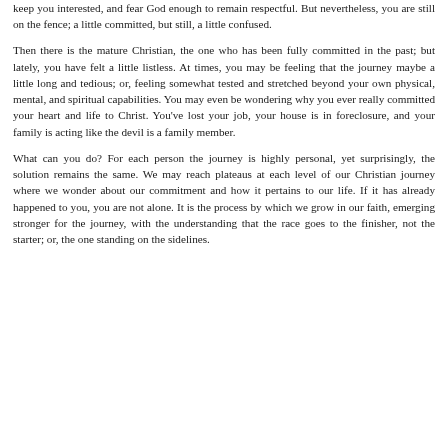keep you interested, and fear God enough to remain respectful. But nevertheless, you are still on the fence; a little committed, but still, a little confused.
Then there is the mature Christian, the one who has been fully committed in the past; but lately, you have felt a little listless. At times, you may be feeling that the journey maybe a little long and tedious; or, feeling somewhat tested and stretched beyond your own physical, mental, and spiritual capabilities. You may even be wondering why you ever really committed your heart and life to Christ. You've lost your job, your house is in foreclosure, and your family is acting like the devil is a family member.
What can you do?  For each person the journey is highly personal, yet surprisingly, the solution remains the same. We may reach plateaus at each level of our Christian journey where we wonder about our commitment and how it pertains to our life.  If it has already happened to you, you are not alone.  It is the process by which we grow in our faith, emerging stronger for the journey, with the understanding that the race goes to the finisher, not the starter; or, the one standing on the sidelines.